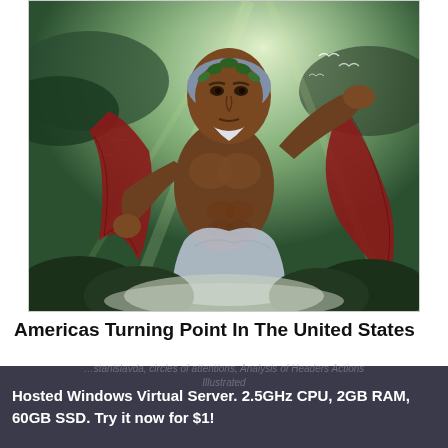[Figure (illustration): Digital illustration of Zeus, a muscular bearded figure wearing a red robe and white draped cloth, raising one hand amid dramatic green cloudy sky with light beams and birds.]
Americas Turning Point In The United States
Hosted Windows Virtual Server. 2.5GHz CPU, 2GB RAM, 60GB SSD. Try it now for $1!